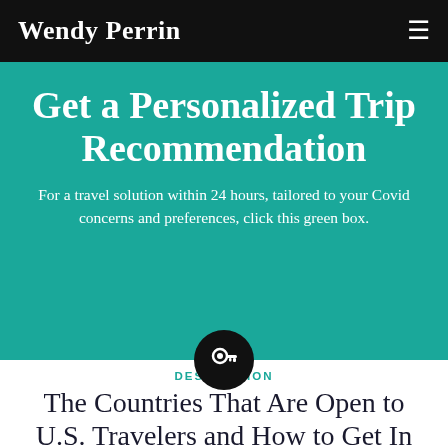Wendy Perrin
Get a Personalized Trip Recommendation
For a travel solution within 24 hours, tailored to your Covid concerns and preferences, click this green box.
[Figure (illustration): Black circle with a key icon in white]
DESTINATION
The Countries That Are Open to U.S. Travelers and How to Get In